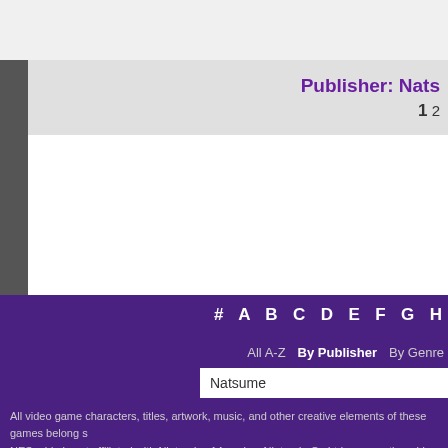Publisher: Nats  1  2
# A B C D E F G H
All A-Z  |  By Publisher  |  By Genre
Natsume
All video game characters, titles, artwork, music, and other creative elements of these games belong s NESguide is not affiliated with Nintendo of America, Nintendo Co Ltd, or any other video game pub General identity, web design and some content is © 2006-2022 SNESguide.com | NESguide Terms of